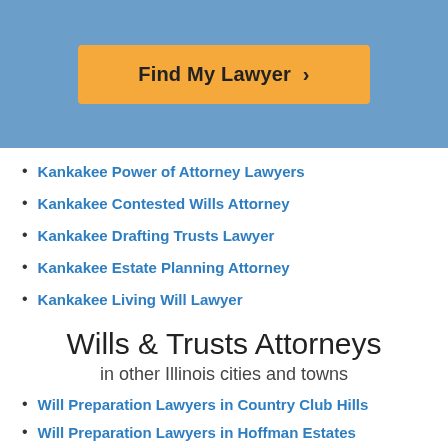[Figure (other): Blue header banner with orange 'Find My Lawyer >' button]
Kankakee Power of Attorney Lawyers
Kankakee Contested Wills Attorney
Kankakee Drafting Trusts Lawyer
Kankakee Estate Planning Attorney
Kankakee Living Will Lawyer
Wills & Trusts Attorneys in other Illinois cities and towns
Will Preparation Lawyers in Country Club Hills
Will Preparation Lawyers in Hoffman Estates